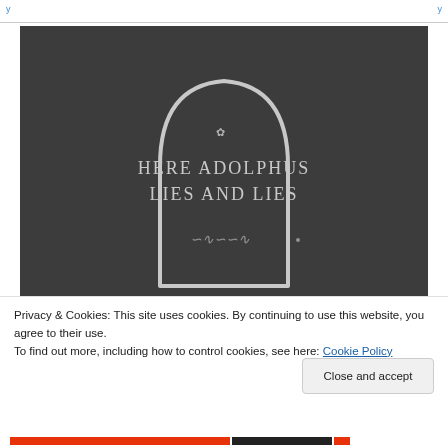[Figure (photo): A hand-drawn gravestone on dark gray background. The tombstone shape is drawn in white chalk/pencil. Inside the tombstone it reads 'HERE ADOLPHUS LIES AND LIES' with a small decorative flourish above and below the text.]
Privacy & Cookies: This site uses cookies. By continuing to use this website, you agree to their use.
To find out more, including how to control cookies, see here: Cookie Policy
Close and accept